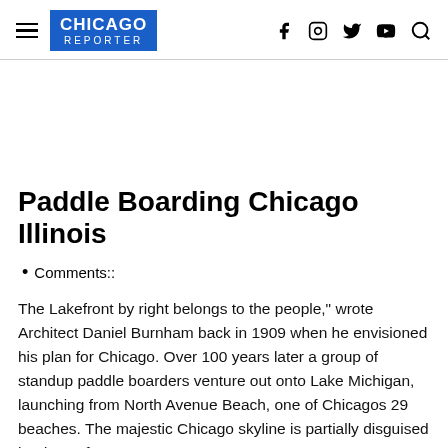CHICAGO REPORTER
Paddle Boarding Chicago Illinois
Comments::
The Lakefront by right belongs to the people," wrote Architect Daniel Burnham back in 1909 when he envisioned his plan for Chicago. Over 100 years later a group of standup paddle boarders venture out onto Lake Michigan, launching from North Avenue Beach, one of Chicagos 29 beaches. The majestic Chicago skyline is partially disguised by dense fog